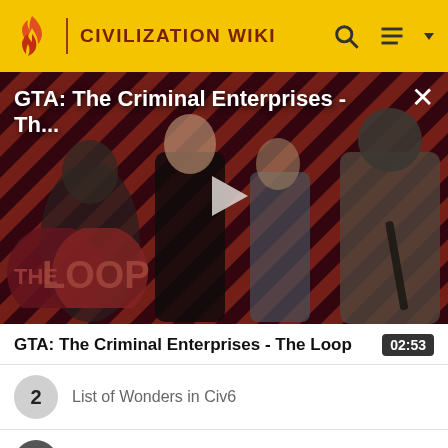CIVILIZATION WIKI
[Figure (screenshot): Video thumbnail for 'GTA: The Criminal Enterprises - The Loop' showing game characters against a red diagonal striped background, with a play button overlay and 'THE LOOP' logo in the lower left.]
GTA: The Criminal Enterprises - The Loop
02:53
2 List of Wonders in Civ6
3 National Park (Civ6)